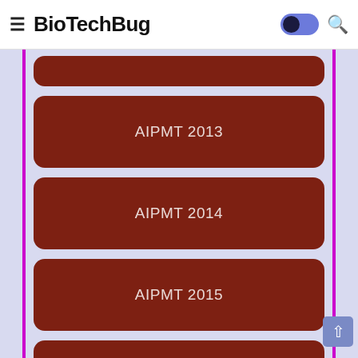BioTechBug
AIPMT 2013
AIPMT 2014
AIPMT 2015
AIPMT 2016